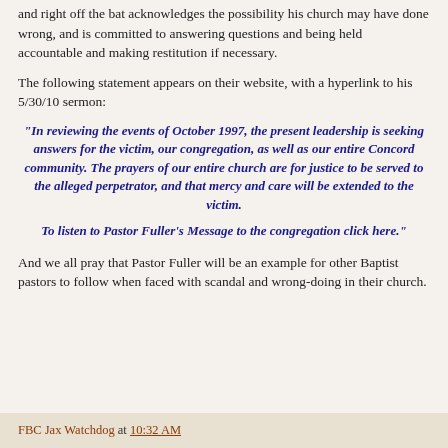and right off the bat acknowledges the possibility his church may have done wrong, and is committed to answering questions and being held accountable and making restitution if necessary.
The following statement appears on their website, with a hyperlink to his 5/30/10 sermon:
"In reviewing the events of October 1997, the present leadership is seeking answers for the victim, our congregation, as well as our entire Concord community. The prayers of our entire church are for justice to be served to the alleged perpetrator, and that mercy and care will be extended to the victim.

To listen to Pastor Fuller's Message to the congregation click here."
And we all pray that Pastor Fuller will be an example for other Baptist pastors to follow when faced with scandal and wrong-doing in their church.
FBC Jax Watchdog at 10:32 AM